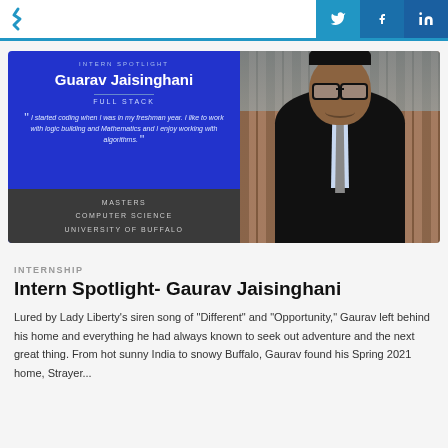Strayer | INTERN SPOTLIGHT | Twitter | Facebook | LinkedIn
[Figure (photo): Intern spotlight card for Gaurav Jaisinghani: blue panel with name, FULL STACK role, quote about coding and algorithms, degree info (Masters, Computer Science, University of Buffalo), and photo of smiling young man in suit with glasses against wooden fence background.]
INTERNSHIP
Intern Spotlight- Gaurav Jaisinghani
Lured by Lady Liberty's siren song of "Different" and "Opportunity," Gaurav left behind his home and everything he had always known to seek out adventure and the next great thing. From hot sunny India to snowy Buffalo, Gaurav found his Spring 2021 home, Strayer...